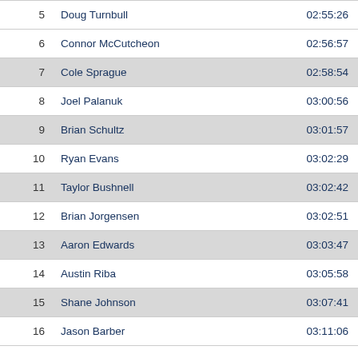| Rank | Name | Time |
| --- | --- | --- |
| 5 | Doug Turnbull | 02:55:26 |
| 6 | Connor McCutcheon | 02:56:57 |
| 7 | Cole Sprague | 02:58:54 |
| 8 | Joel Palanuk | 03:00:56 |
| 9 | Brian Schultz | 03:01:57 |
| 10 | Ryan Evans | 03:02:29 |
| 11 | Taylor Bushnell | 03:02:42 |
| 12 | Brian Jorgensen | 03:02:51 |
| 13 | Aaron Edwards | 03:03:47 |
| 14 | Austin Riba | 03:05:58 |
| 15 | Shane Johnson | 03:07:41 |
| 16 | Jason Barber | 03:11:06 |